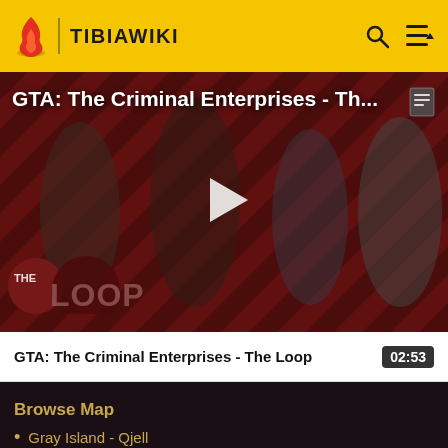TIBIAWIKI
[Figure (screenshot): Video thumbnail for GTA: The Criminal Enterprises - The Loop, showing characters on a red and dark diagonal striped background with 'THE LOOP' logo and a play button overlay]
GTA: The Criminal Enterprises - The Loop
02:53
Browse Map
Gray Island - Qjell